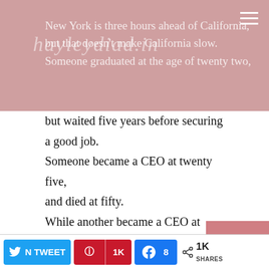New York is three hours ahead of California, but that doesn't make California slow. Someone graduated at the age of twenty two,
but waited five years before securing a good job.
Someone became a CEO at twenty five,
and died at fifty.
While another became a CEO at fifty,
and lived to ninety years.
Someone is still single,
while someone else got married.
Obama retired at fifty five,
and trump started at seventy.
Everyone in this world works based on their time zone
Privacy & Cookies: This site uses cookies. By continuing to use this website, you agree to their use.
To find out more, including how to control cookies, see here: